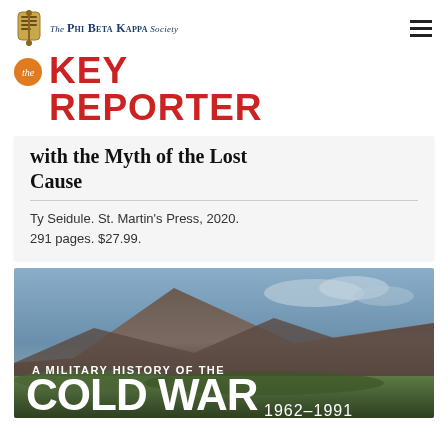The Phi Beta Kappa Society
KEY REPORTER
with the Myth of the Lost Cause
Ty Seidule. St. Martin's Press, 2020. 291 pages. $27.99.
[Figure (photo): Book cover image showing a mountain landscape with the text 'A Military History of the Cold War 1962–1991']